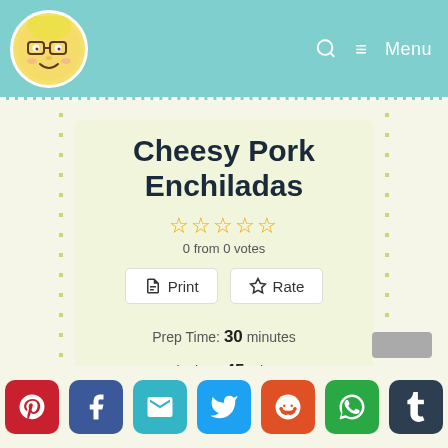Cheesy Pork Enchiladas - recipe blog header with logo and menu
Cheesy Pork Enchiladas
0 from 0 votes
Prep Time: 30 minutes
Cook Time: 45 minutes
Total Time: 1 hour 15 minutes
Servings: 6 Servings
Author: DJ Foodie
[Figure (illustration): Social media share buttons: Pinterest, Facebook, Email, Twitter, Reddit, WhatsApp, Tumblr]